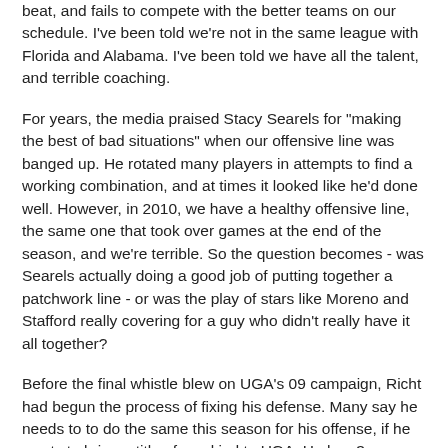beat, and fails to compete with the better teams on our schedule. I've been told we're not in the same league with Florida and Alabama. I've been told we have all the talent, and terrible coaching.
For years, the media praised Stacy Searels for "making the best of bad situations" when our offensive line was banged up. He rotated many players in attempts to find a working combination, and at times it looked like he'd done well. However, in 2010, we have a healthy offensive line, the same one that took over games at the end of the season, and we're terrible. So the question becomes - was Searels actually doing a good job of putting together a patchwork line - or was the play of stars like Moreno and Stafford really covering for a guy who didn't really have it all together?
Before the final whistle blew on UGA's 09 campaign, Richt had begun the process of fixing his defense. Many say he needs to to do the same this season for his offense, if he wants to bring a title of any kind to UGA. He has 3 seasons remaining on his contact, and at the moment he's in no danger of having that contract extended. If he doesn't right